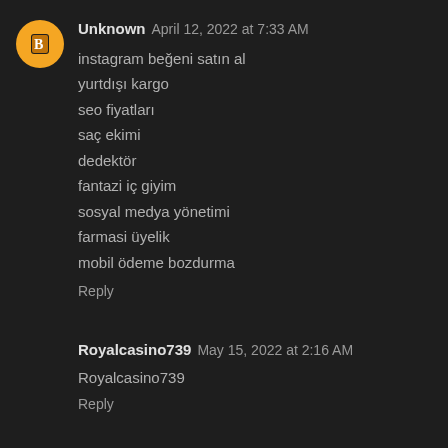Unknown April 12, 2022 at 7:33 AM
instagram beğeni satın al
yurtdışı kargo
seo fiyatları
saç ekimi
dedektör
fantazi iç giyim
sosyal medya yönetimi
farmasi üyelik
mobil ödeme bozdurma
Reply
Royalcasino739 May 15, 2022 at 2:16 AM
Royalcasino739
Reply
Unknown May 17, 2022 at 9:54 PM
an son eıkan perde modelleri